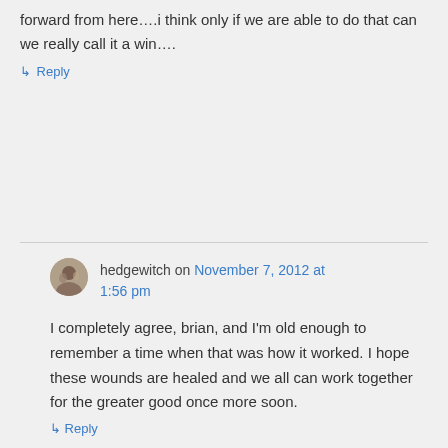forward from here….i think only if we are able to do that can we really call it a win….
↳ Reply
hedgewitch on November 7, 2012 at 1:56 pm
I completely agree, brian, and I'm old enough to remember a time when that was how it worked. I hope these wounds are healed and we all can work together for the greater good once more soon.
↳ Reply